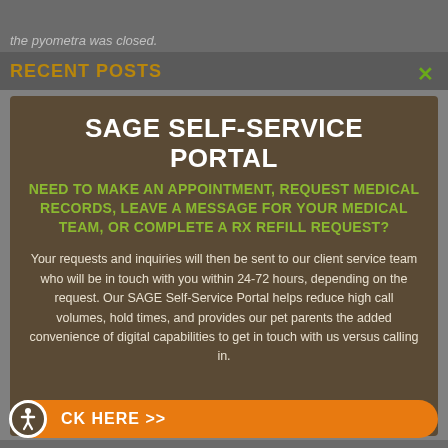the pyometra was closed.
RECENT POSTS
SAGE SELF-SERVICE PORTAL
NEED TO MAKE AN APPOINTMENT, REQUEST MEDICAL RECORDS, LEAVE A MESSAGE FOR YOUR MEDICAL TEAM, OR COMPLETE A RX REFILL REQUEST?
Your requests and inquiries will then be sent to our client service team who will be in touch with you within 24-72 hours, depending on the request. Our SAGE Self-Service Portal helps reduce high call volumes, hold times, and provides our pet parents the added convenience of digital capabilities to get in touch with us versus calling in.
CK HERE >>